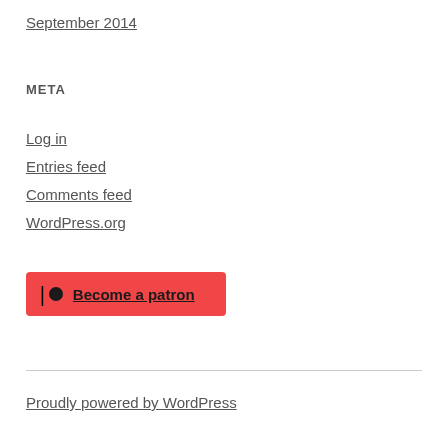September 2014
META
Log in
Entries feed
Comments feed
WordPress.org
[Figure (other): Patreon button: red rectangle with Patreon logo and 'Become a patron' link]
Proudly powered by WordPress